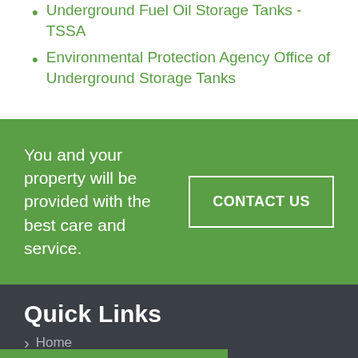Underground Fuel Oil Storage Tanks - TSSA
Environmental Protection Agency Office of Underground Storage Tanks
You and your property will be provided with the best care and service.
CONTACT US
Quick Links
Home
HAVE A QUESTION?